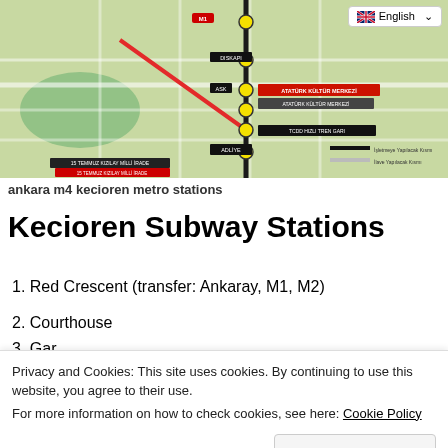[Figure (map): Map showing Ankara M4 Kecioren metro line route with stations marked in yellow circles, overlaid on a city street map. Metro line shown in red and black. Stations labeled including M1, DISKAPI, ASK, ATATÜRK KÜLTÜR MERKEZİ, TCDD HIZLI TREN GARI, ADLİYE, 15 TEMMUZ KIZILAY MİLLİ İRADE. Legend shows Işletmeye Yapılacak Kısmı and İlave Yapılacak Kısmı.]
ankara m4 kecioren metro stations
Kecioren Subway Stations
1. Red Crescent (transfer: Ankaray, M1, M2)
2. Courthouse
3. Gar
Privacy and Cookies: This site uses cookies. By continuing to use this website, you agree to their use.
For more information on how to check cookies, see here: Cookie Policy
8. municipality